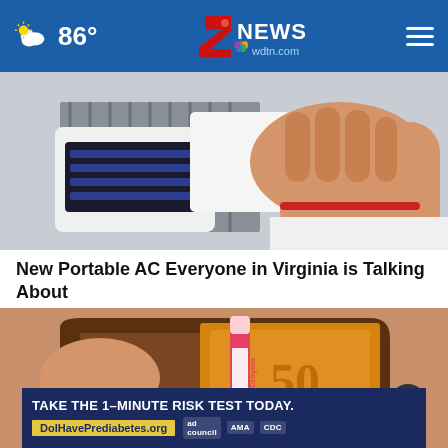86° | 2 NEWS wdtn.com
[Figure (photo): Person holding a small portable air conditioner unit with white casing and dark blue vents]
New Portable AC Everyone in Virginia is Talking About
ChillWell AC
[Figure (photo): Person's hands holding open a brown leather wallet containing a red Crayola crayon and what appears to be money]
[Figure (other): Advertisement banner: TAKE THE 1-MINUTE RISK TEST TODAY. DolHavePrediabetes.org | ad council, AMA, CDC logos]